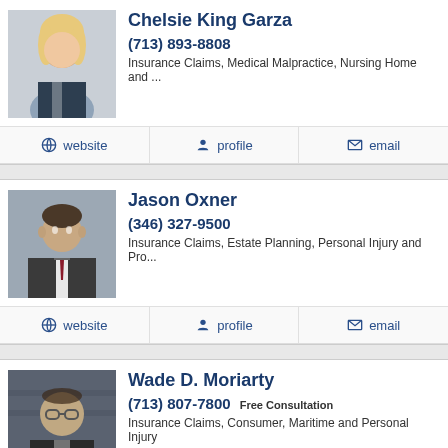[Figure (photo): Headshot of Chelsie King Garza, blonde woman in professional attire]
Chelsie King Garza
(713) 893-8808
Insurance Claims, Medical Malpractice, Nursing Home and ...
website  profile  email
[Figure (photo): Headshot of Jason Oxner, man in suit and tie]
Jason Oxner
(346) 327-9500
Insurance Claims, Estate Planning, Personal Injury and Pro...
website  profile  email
[Figure (photo): Headshot of Wade D. Moriarty, man with glasses]
Wade D. Moriarty
(713) 807-7800 Free Consultation
Insurance Claims, Consumer, Maritime and Personal Injury
website  profile  email